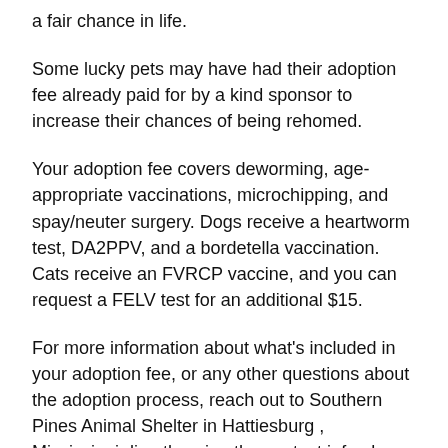a fair chance in life.
Some lucky pets may have had their adoption fee already paid for by a kind sponsor to increase their chances of being rehomed.
Your adoption fee covers deworming, age-appropriate vaccinations, microchipping, and spay/neuter surgery. Dogs receive a heartworm test, DA2PPV, and a bordetella vaccination. Cats receive an FVRCP vaccine, and you can request a FELV test for an additional $15.
For more information about what's included in your adoption fee, or any other questions about the adoption process, reach out to Southern Pines Animal Shelter in Hattiesburg , Mississippi directly using the contact info above.